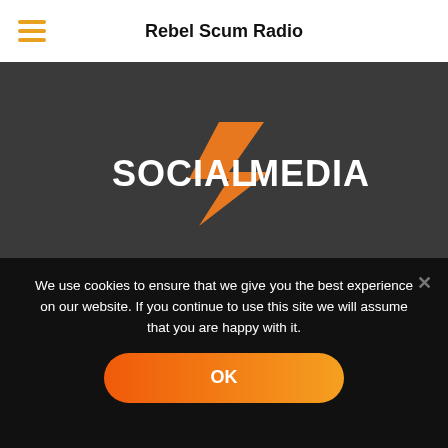Rebel Scum Radio
[Figure (logo): Social Media logo with orange lightning bolt graphic and text 'SOCIAL MEDIA' in white bold letters on dark background, with facebook, YouTube, Instagram, and twitter icons below]
We use cookies to ensure that we give you the best experience on our website. If you continue to use this site we will assume that you are happy with it.
OK